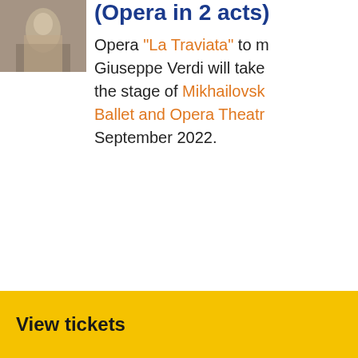[Figure (photo): Opera performance scene showing performers on stage]
(Opera in 2 acts)
Opera "La Traviata" to music by Giuseppe Verdi will take the stage of Mikhailovsky Ballet and Opera Theatre September 2022.
View tickets